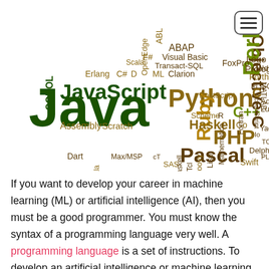[Figure (infographic): Word cloud of programming languages of varying sizes and colors (dark green, olive/yellow-green, dark brown/maroon). Largest words: Java, JavaScript, Python, PHP, Pascal, Ruby, C++, Objective-C. Smaller words include Haskell, Perl, Scala, Erlang, COBOL, Assembly, Scratch, Dart, Swift, Prolog, Logo, Fortran, Ada, Lua, MATLAB, ActionScript, ColdFusion, Forth, PL/SQL, TCL, Delphi, Groovy, Lisp, Tcl, SAS, Mathematica, Scheme, Go, R, F#, C#, D, ML, Clarion, Transact-SQL, Visual Basic, ABAP, ABL, OpenEdge, FoxPro, PostScript, Max/MSP, cT, Haskell, Yacc, Io, PL/I. A hamburger menu icon in top-right corner.]
If you want to develop your career in machine learning (ML) or artificial intelligence (AI), then you must be a good programmer. You must know the syntax of a programming language very well. A programming language is a set of instructions. To develop an artificial intelligence or machine learning project, several